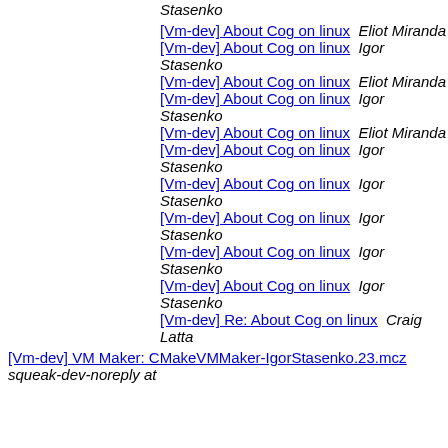[Vm-dev] About Cog on linux  Eliot Miranda
[Vm-dev] About Cog on linux  Igor Stasenko
[Vm-dev] About Cog on linux  Eliot Miranda
[Vm-dev] About Cog on linux  Igor Stasenko
[Vm-dev] About Cog on linux  Eliot Miranda
[Vm-dev] About Cog on linux  Igor Stasenko
[Vm-dev] About Cog on linux  Igor Stasenko
[Vm-dev] About Cog on linux  Igor Stasenko
[Vm-dev] About Cog on linux  Igor Stasenko
[Vm-dev] About Cog on linux  Igor Stasenko
[Vm-dev] Re: About Cog on linux  Craig Latta
[Vm-dev] VM Maker: CMakeVMMaker-IgorStasenko.23.mcz  squeak-dev-noreply at